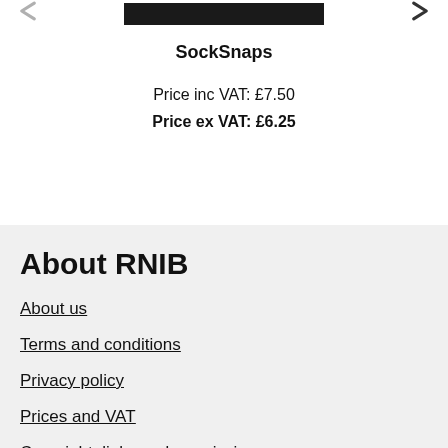[Figure (other): Product image area with left and right navigation arrows and a dark image bar in the center]
SockSnaps
Price inc VAT: £7.50
Price ex VAT: £6.25
About RNIB
About us
Terms and conditions
Privacy policy
Prices and VAT
Copyright, links and permissions